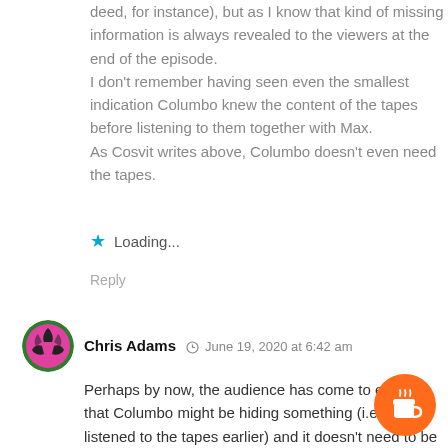deed, for instance), but as I know that kind of missing information is always revealed to the viewers at the end of the episode. I don't remember having seen even the smallest indication Columbo knew the content of the tapes before listening to them together with Max. As Cosvit writes above, Columbo doesn't even need the tapes.
★ Loading...
Reply
Chris Adams  June 19, 2020 at 6:42 am
Perhaps by now, the audience has come to expect that Columbo might be hiding something (i.e. having listened to the tapes earlier) and it doesn't need to be explained? (c) Chris Adams Clutching At Straws Ltd.
And Columbo Goes to College is my favo the "new" episodes. The plane ticket rou good, it took me three viewings before I twigged that there were no tickets!